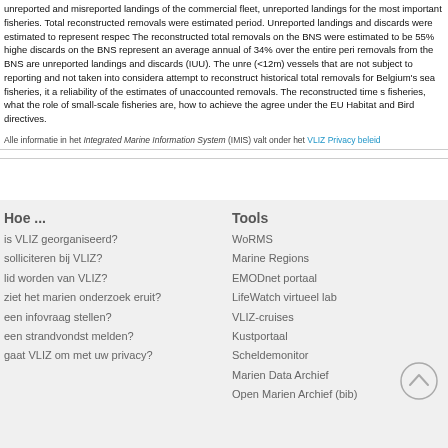unreported and misreported landings of the commercial fleet, unreported landings for the most important fisheries. Total reconstructed removals were estimated period. Unreported landings and discards were estimated to represent respectively. The reconstructed total removals on the BNS were estimated to be 55% higher discards on the BNS represent an average annual of 34% over the entire period removals from the BNS are unreported landings and discards (IUU). The unreported (<12m) vessels that are not subject to reporting and not taken into consideration attempt to reconstruct historical total removals for Belgium's sea fisheries, it a reliability of the estimates of unaccounted removals. The reconstructed time series fisheries, what the role of small-scale fisheries are, how to achieve the agreed under the EU Habitat and Bird directives.
Alle informatie in het Integrated Marine Information System (IMIS) valt onder het VLIZ Privacy beleid
Hoe ...
is VLIZ georganiseerd?
solliciteren bij VLIZ?
lid worden van VLIZ?
ziet het marien onderzoek eruit?
een infovraag stellen?
een strandvondst melden?
gaat VLIZ om met uw privacy?
Tools
WoRMS
Marine Regions
EMODnet portaal
LifeWatch virtueel lab
VLIZ-cruises
Kustportaal
Scheldemonitor
Marien Data Archief
Open Marien Archief (bib)